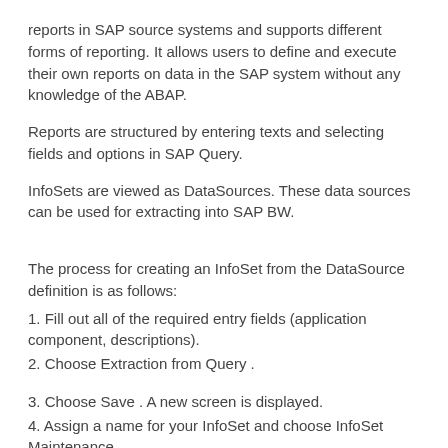reports in SAP source systems and supports different forms of reporting. It allows users to define and execute their own reports on data in the SAP system without any knowledge of the ABAP.
Reports are structured by entering texts and selecting fields and options in SAP Query.
InfoSets are viewed as DataSources. These data sources can be used for extracting into SAP BW.
The process for creating an InfoSet from the DataSource definition is as follows:
1. Fill out all of the required entry fields (application component, descriptions).
2. Choose Extraction from Query .
3. Choose Save . A new screen is displayed.
4. Assign a name for your InfoSet and choose InfoSet Maintenance .